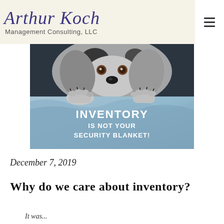Arthur Koch Management Consulting, LLC
[Figure (photo): A Dalmatian dog peeking over blue fabric blankets with overlaid text reading 'INVENTORY IS NOT YOUR SECURITY BLANKET!']
December 7, 2019
Why do we care about inventory?
It was...